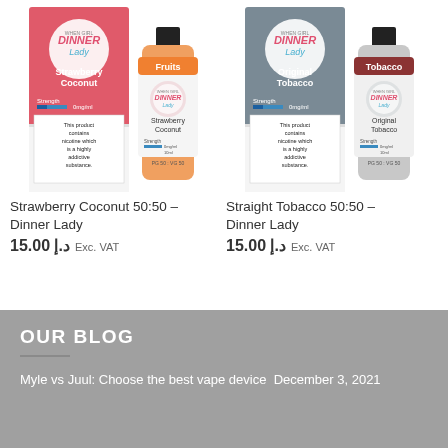[Figure (photo): Two Dinner Lady e-liquid product images side by side: Strawberry Coconut box and bottle (pink/peach colors, Fruits label), and Original Tobacco box and bottle (grey/dark red colors, Tobacco label). Both show nicotine warning text and PG50:VG50 ratio.]
Strawberry Coconut 50:50 – Dinner Lady
15.00 د.إ Exc. VAT
Straight Tobacco 50:50 – Dinner Lady
15.00 د.إ Exc. VAT
OUR BLOG
Myle vs Juul: Choose the best vape device December 3, 2021